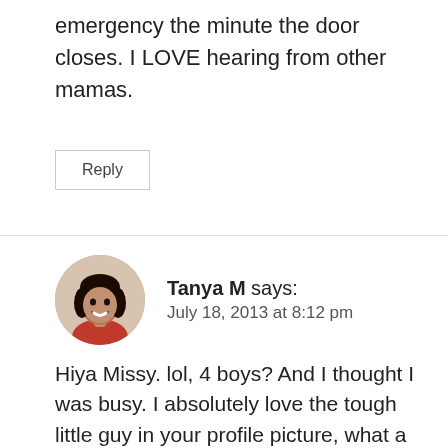emergency the minute the door closes. I LOVE hearing from other mamas.
Reply
[Figure (photo): Circular avatar photo of Tanya M, a woman with dark hair wearing a red top, smiling.]
Tanya M says:
July 18, 2013 at 8:12 pm
Hiya Missy. lol, 4 boys? And I thought I was busy. I absolutely love the tough little guy in your profile picture, what a doll! And oh I know what you mean, everything is an emergency. My husband started asking the kids "Where's